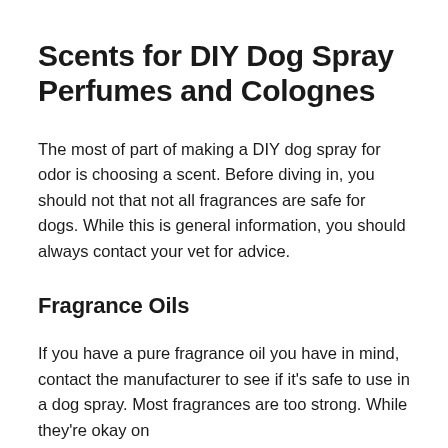Scents for DIY Dog Spray Perfumes and Colognes
The most of part of making a DIY dog spray for odor is choosing a scent. Before diving in, you should not that not all fragrances are safe for dogs. While this is general information, you should always contact your vet for advice.
Fragrance Oils
If you have a pure fragrance oil you have in mind, contact the manufacturer to see if it's safe to use in a dog spray. Most fragrances are too strong. While they're okay on